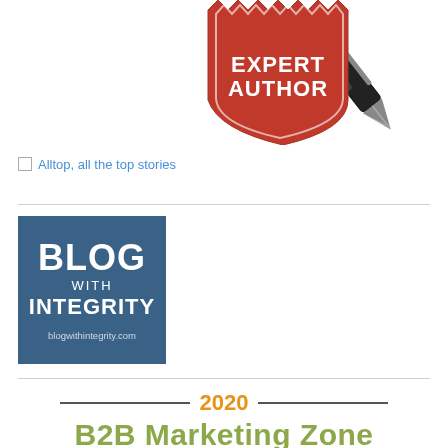[Figure (logo): EzineArticles Expert Author badge — red shield/badge shape with 'EXPERT AUTHOR' text and fountain pen graphic]
[Figure (logo): Alltop, all the top stories — placeholder image with alt text visible]
[Figure (logo): Blog with Integrity badge — blue square with 'BLOG WITH INTEGRITY' text and blogwithintegrity.com URL]
[Figure (infographic): 2020 B2B Marketing Zone section header with orange '2020' year and olive/green 'B2B Marketing Zone' text, flanked by horizontal lines]